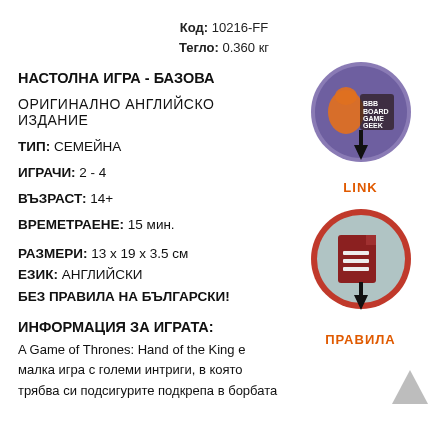Код: 10216-FF
Тегло: 0.360 кг
НАСТОЛНА ИГРА - БАЗОВА
ОРИГИНАЛНО АНГЛИЙСКО ИЗДАНИЕ
ТИП: СЕМЕЙНА
ИГРАЧИ: 2 - 4
ВЪЗРАСТ: 14+
ВРЕМЕТРАЕНЕ: 15 мин.
[Figure (logo): BoardGameGeek circular logo with orange game piece icon and BGG text, with black arrow pointer below and LINK label in orange]
[Figure (logo): Rules document circular icon with dark red document icon on grey background with red border, with black arrow pointer below and ПРАВИЛА label in orange]
РАЗМЕРИ: 13 х 19 х 3.5 см
ЕЗИК: АНГЛИЙСКИ
БЕЗ ПРАВИЛА НА БЪЛГАРСКИ!
ИНФОРМАЦИЯ ЗА ИГРАТА:
A Game of Thrones: Hand of the King е малка игра с големи интриги, в която трябва си подсигурите подкрепа в борбата